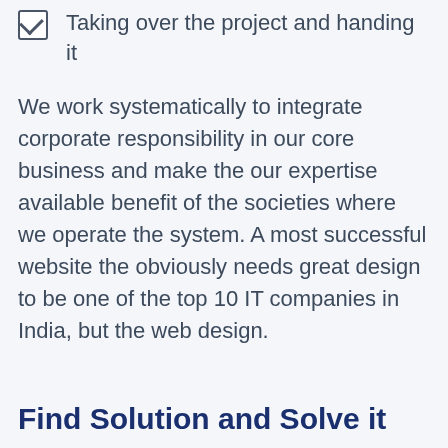Taking over the project and handing it
We work systematically to integrate corporate responsibility in our core business and make the our expertise available benefit of the societies where we operate the system. A most successful website the obviously needs great design to be one of the top 10 IT companies in India, but the web design.
Find Solution and Solve it